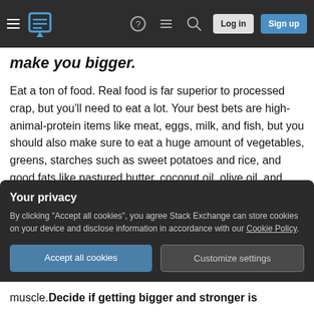Stack Exchange navigation bar with hamburger menu, logo, help, chat, search icons, and Log in / Sign up buttons
make you bigger.
Eat a ton of food. Real food is far superior to processed crap, but you'll need to eat a lot. Your best bets are high-animal-protein items like meat, eggs, milk, and fish, but you should also make sure to eat a huge amount of vegetables, greens, starches such as sweet potatoes and rice, and good fats like pastured butter, coconut oil, olive oil, and avocado.
If you're ever hungry, you're not eating enough.
Your privacy
By clicking "Accept all cookies", you agree Stack Exchange can store cookies on your device and disclose information in accordance with our Cookie Policy.
Accept all cookies   Customize settings
muscle. Decide if getting bigger and stronger is